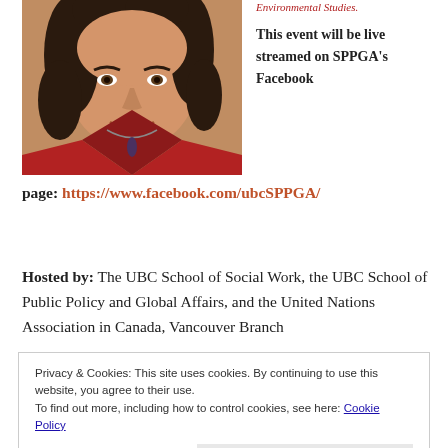[Figure (photo): Portrait photo of a woman with curly dark hair wearing a red V-neck top and a pendant necklace, smiling at the camera.]
Environmental Studies.
This event will be live streamed on SPPGA's Facebook
page: https://www.facebook.com/ubcSPPGA/
Hosted by: The UBC School of Social Work, the UBC School of Public Policy and Global Affairs, and the United Nations Association in Canada, Vancouver Branch
Privacy & Cookies: This site uses cookies. By continuing to use this website, you agree to their use.
To find out more, including how to control cookies, see here: Cookie Policy
Close and accept